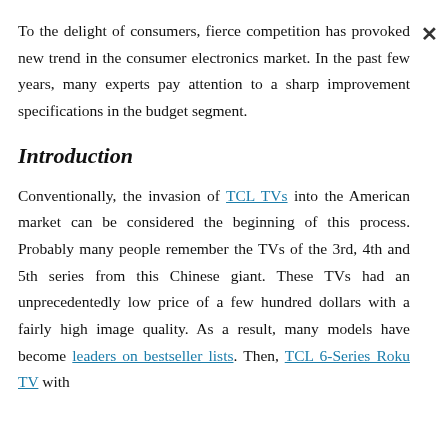To the delight of consumers, fierce competition has provoked new trend in the consumer electronics market. In the past few years, many experts pay attention to a sharp improvement specifications in the budget segment.
Introduction
Conventionally, the invasion of TCL TVs into the American market can be considered the beginning of this process. Probably many people remember the TVs of the 3rd, 4th and 5th series from this Chinese giant. These TVs had an unprecedentedly low price of a few hundred dollars with a fairly high image quality. As a result, many models have become leaders on bestseller lists. Then, TCL 6-Series Roku TV with